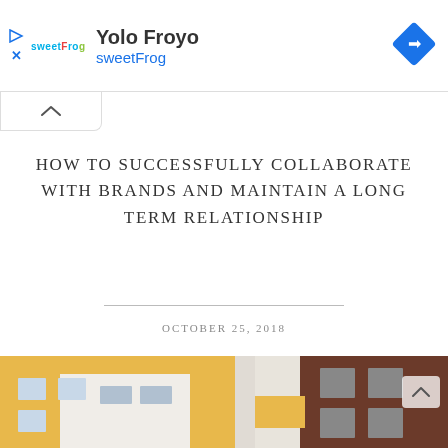[Figure (logo): sweetFrog yogurt brand ad banner with logo, 'Yolo Froyo' title, 'sweetFrog' subtitle in blue, and blue navigation diamond icon on right]
HOW TO SUCCESSFULLY COLLABORATE WITH BRANDS AND MAINTAIN A LONG TERM RELATIONSHIP
OCTOBER 25, 2018
[Figure (photo): Photo of colorful building facades in yellow, white and brown/red tones with windows]